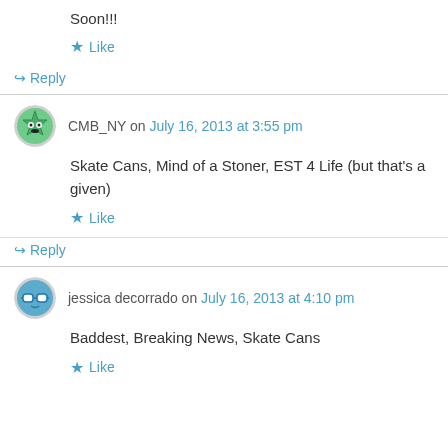Soon!!!
Like
Reply
CMB_NY on July 16, 2013 at 3:55 pm
Skate Cans, Mind of a Stoner, EST 4 Life (but that's a given)
Like
Reply
jessica decorrado on July 16, 2013 at 4:10 pm
Baddest, Breaking News, Skate Cans
Like